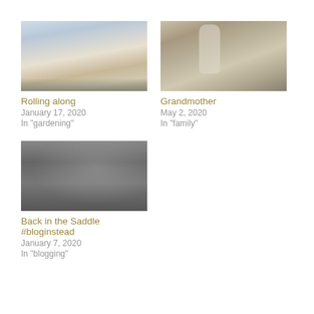[Figure (photo): Sky with clouds, muted tones]
Rolling along
January 17, 2020
In "gardening"
[Figure (photo): Old sepia-toned photo of a woman in a white dress]
Grandmother
May 2, 2020
In "family"
[Figure (photo): Black and white photo of hands working at a table]
Back in the Saddle #bloginstead
January 7, 2020
In "blogging"